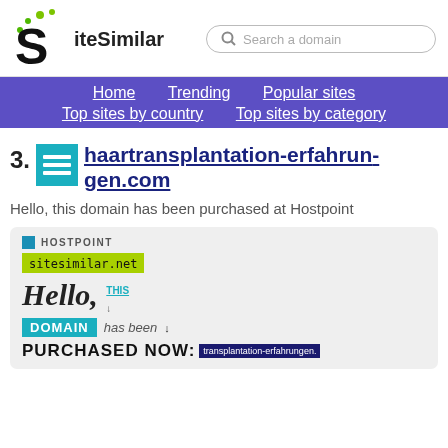SiteSimilar — Search a domain
Home  Trending  Popular sites  Top sites by country  Top sites by category
53. haartransplantation-erfahrungen.com
Hello, this domain has been purchased at Hostpoint
[Figure (screenshot): Screenshot of haartransplantation-erfahrungen.com showing a Hostpoint domain parking page with text 'Hello, this DOMAIN has been PURCHASED NOW']